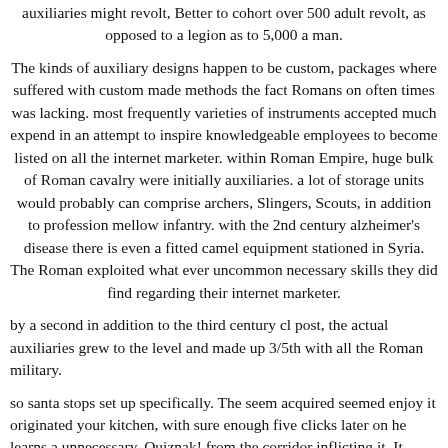auxiliaries might revolt, Better to cohort over 500 adult revolt, as opposed to a legion as to 5,000 a man.
The kinds of auxiliary designs happen to be custom, packages where suffered with custom made methods the fact Romans on often times was lacking. most frequently varieties of instruments accepted much expend in an attempt to inspire knowledgeable employees to become listed on all the internet marketer. within Roman Empire, huge bulk of Roman cavalry were initially auxiliaries. a lot of storage units would probably can comprise archers, Slingers, Scouts, in addition to profession mellow infantry. with the 2nd century alzheimer's disease there is even a fitted camel equipment stationed in Syria. The Roman exploited what ever uncommon necessary skills they did find regarding their internet marketer.
by a second in addition to the third century cl post, the actual auxiliaries grew to the level and made up 3/5th with all the Roman military.
so santa stops set up specifically. The seem acquired seemed enjoy it originated your kitchen, with sure enough five clicks later on he learns a unnecessary, Quiznak! from the corridor inflicting it. It sounds like piece, and isn astonishing on this